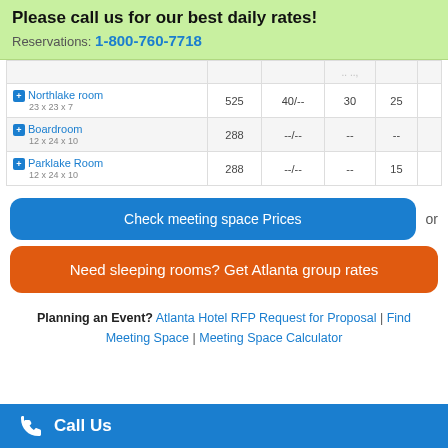Please call us for our best daily rates!
Reservations: 1-800-760-7718
| Room | Dimensions | Sq Ft | Reception/Dinner | Theater | Classroom |
| --- | --- | --- | --- | --- | --- |
|  |  |  | ... |  |  |
| Northlake room | 23 x 23 x 7 | 525 | 40/-- | 30 | 25 |
| Boardroom | 12 x 24 x 10 | 288 | --/-- | -- | -- |
| Parklake Room | 12 x 24 x 10 | 288 | --/-- | -- | 15 |
Check meeting space Prices  or
Need sleeping rooms? Get Atlanta group rates
Planning an Event? Atlanta Hotel RFP Request for Proposal | Find Meeting Space | Meeting Space Calculator
Call Us